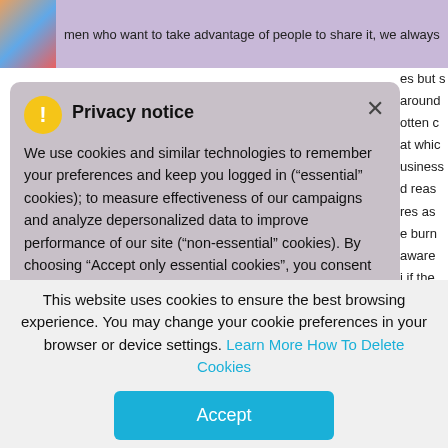men who want to take advantage of people to share it, we always
Privacy notice
We use cookies and similar technologies to remember your preferences and keep you logged in (“essential” cookies); to measure effectiveness of our campaigns and analyze depersonalized data to improve performance of our site (“non-essential” cookies). By choosing “Accept only essential cookies”, you consent to the use of only the technically necessary essential cookies. By choosing “Accept all cookies”, you consent to the use of all the cookies. You can change your cookie
This website uses cookies to ensure the best browsing experience. You may change your cookie preferences in your browser or device settings. Learn More How To Delete Cookies
Accept